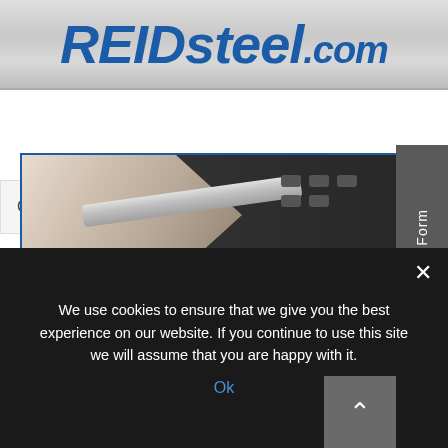[Figure (logo): REIDsteel.com logo in bold italic blue text on metallic grey background]
Go to...
[Figure (photo): Close-up photo of a hand using a telephone/phone keypad with buttons visible]
Enquiry Form
We use cookies to ensure that we give you the best experience on our website. If you continue to use this site we will assume that you are happy with it.
Ok